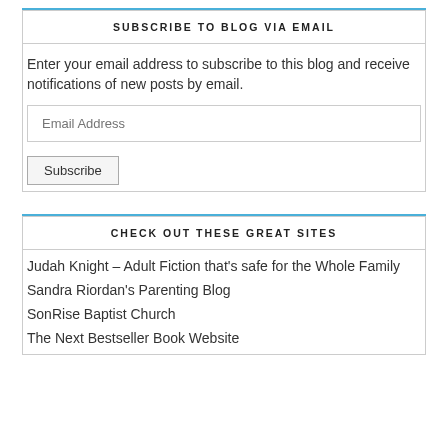SUBSCRIBE TO BLOG VIA EMAIL
Enter your email address to subscribe to this blog and receive notifications of new posts by email.
CHECK OUT THESE GREAT SITES
Judah Knight – Adult Fiction that's safe for the Whole Family
Sandra Riordan's Parenting Blog
SonRise Baptist Church
The Next Bestseller Book Website